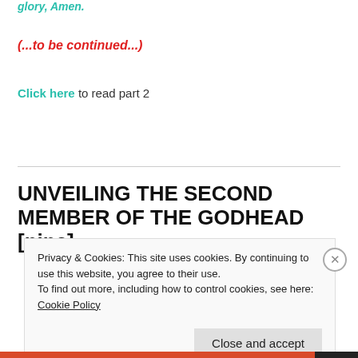glory, Amen.
(...to be continued...)
Click here to read part 2
UNVEILING THE SECOND MEMBER OF THE GODHEAD [nine]
Privacy & Cookies: This site uses cookies. By continuing to use this website, you agree to their use.
To find out more, including how to control cookies, see here: Cookie Policy
Close and accept